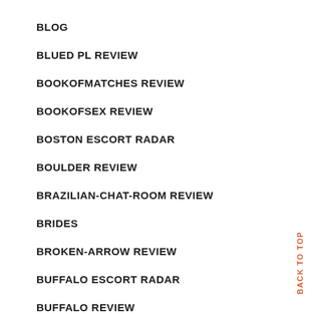BLOG
BLUED PL REVIEW
BOOKOFMATCHES REVIEW
BOOKOFSEX REVIEW
BOSTON ESCORT RADAR
BOULDER REVIEW
BRAZILIAN-CHAT-ROOM REVIEW
BRIDES
BROKEN-ARROW REVIEW
BUFFALO ESCORT RADAR
BUFFALO REVIEW
BUKMACHERZY LEGALNI
BACK TO TOP